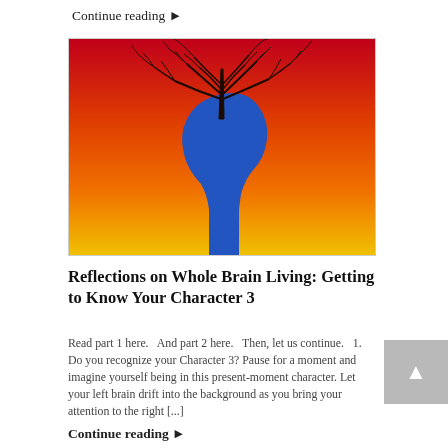Continue reading ▶
[Figure (illustration): Colorful painting of a blue human head silhouette with bare tree branches growing from the top, set against a red, orange, and yellow gradient background.]
Reflections on Whole Brain Living: Getting to Know Your Character 3
Read part 1 here.   And part 2 here.   Then, let us continue.   1. Do you recognize your Character 3? Pause for a moment and imagine yourself being in this present-moment character. Let your left brain drift into the background as you bring your attention to the right [...]
Continue reading ▶